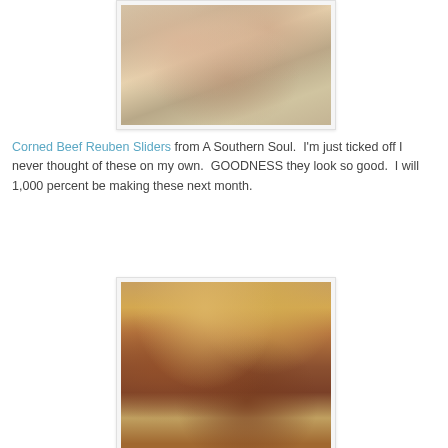[Figure (photo): Close-up photo of corned beef reuben sliders on a wooden cutting board, top view showing multiple open-faced sliders with toppings]
Corned Beef Reuben Sliders from A Southern Soul.  I'm just ticked off I never thought of these on my own.  GOODNESS they look so good.  I will 1,000 percent be making these next month.
[Figure (photo): Close-up photo of corned beef reuben sliders on a wooden board, showing golden Hawaiian rolls filled with corned beef, sauerkraut, and melted cheese]